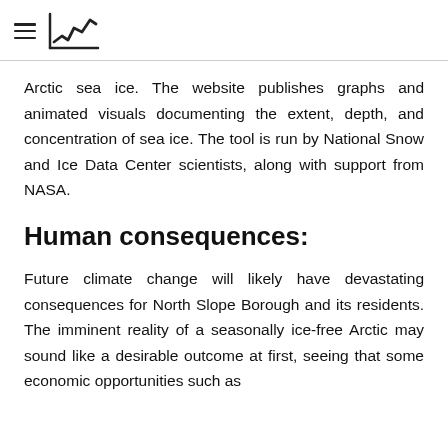≡ [chart logo]
Arctic sea ice. The website publishes graphs and animated visuals documenting the extent, depth, and concentration of sea ice. The tool is run by National Snow and Ice Data Center scientists, along with support from NASA.
Human consequences:
Future climate change will likely have devastating consequences for North Slope Borough and its residents. The imminent reality of a seasonally ice-free Arctic may sound like a desirable outcome at first, seeing that some economic opportunities such as